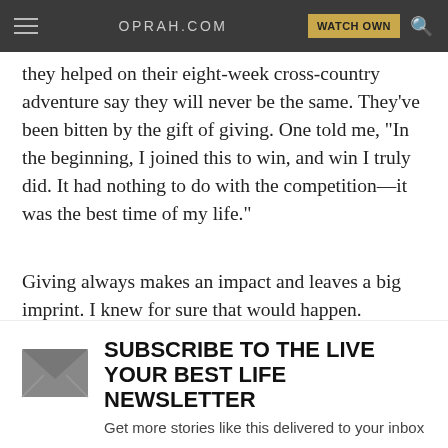OPRAH.COM | WATCH OWN
they helped on their eight-week cross-country adventure say they will never be the same. They've been bitten by the gift of giving. One told me, "In the beginning, I joined this to win, and win I truly did. It had nothing to do with the competition—it was the best time of my life."
Giving always makes an impact and leaves a big imprint. I knew for sure that would happen.
SUBSCRIBE TO THE LIVE YOUR BEST LIFE NEWSLETTER
Get more stories like this delivered to your inbox